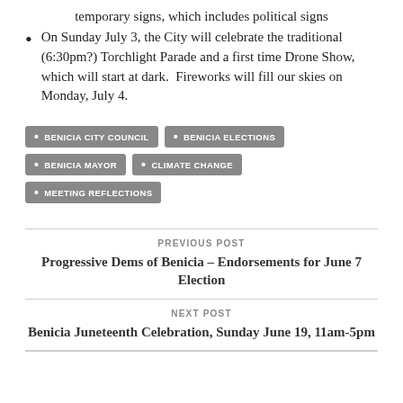temporary signs, which includes political signs
On Sunday July 3, the City will celebrate the traditional (6:30pm?) Torchlight Parade and a first time Drone Show, which will start at dark.  Fireworks will fill our skies on Monday, July 4.
BENICIA CITY COUNCIL • BENICIA ELECTIONS • BENICIA MAYOR • CLIMATE CHANGE • MEETING REFLECTIONS
PREVIOUS POST
Progressive Dems of Benicia – Endorsements for June 7 Election
NEXT POST
Benicia Juneteenth Celebration, Sunday June 19, 11am-5pm